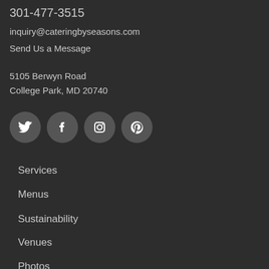301-477-3515
inquiry@cateringbyseasons.com
Send Us a Message
5105 Berwyn Road
College Park, MD 20740
[Figure (illustration): Four circular social media icons: Twitter, Facebook, Instagram, Pinterest on dark grey background]
Services
Menus
Sustainability
Venues
Photos